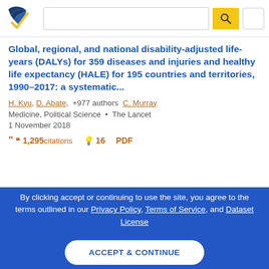Semantic Scholar search interface header with logo, search bar, and navigation
Global, regional, and national disability-adjusted life-years (DALYs) for 359 diseases and injuries and healthy life expectancy (HALE) for 195 countries and territories, 1990–2017: a systematic...
H. Kyu, D. Abate, +977 authors  C. Murray
Medicine, Political Science  •  The Lancet
1 November 2018
1,295 citations  •  16  •  PDF
By clicking accept or continuing to use the site, you agree to the terms outlined in our Privacy Policy, Terms of Service, and Dataset License
ACCEPT & CONTINUE